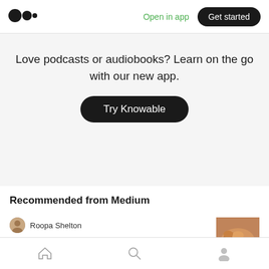[Figure (logo): Medium logo — three stacked circles]
Open in app
Get started
Love podcasts or audiobooks? Learn on the go with our new app.
Try Knowable
Recommended from Medium
Roopa Shelton
Easy Malai Kofta. Indian Restaurant Style
[Figure (photo): Thumbnail photo of Indian food dish]
[Figure (illustration): Bottom navigation bar with home, search, and profile icons]